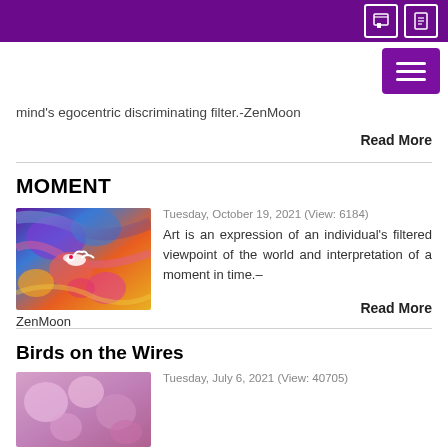mind's egocentric discriminating filter.–ZenMoon
Read More
MOMENT
Tuesday, October 19, 2021  (View: 6184)
[Figure (photo): Colorful abstract painting with bird and vibrant colors]
Art is an expression of an individual's filtered viewpoint of the world and interpretation of a moment in time.– ZenMoon
Read More
Birds on the Wires
Tuesday, July 6, 2021  (View: 40705)
[Figure (photo): Blurred floral/nature image]